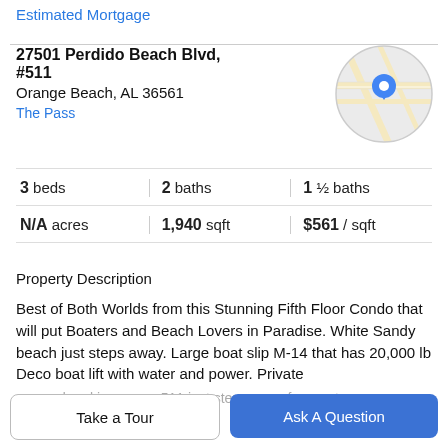Estimated Mortgage
27501 Perdido Beach Blvd, #511
Orange Beach, AL 36561
The Pass
[Figure (map): Circular map thumbnail showing street map with a blue location pin marker]
| 3 beds | 2 baths | 1 ½ baths |
| N/A acres | 1,940 sqft | $561 / sqft |
Property Description
Best of Both Worlds from this Stunning Fifth Floor Condo that will put Boaters and Beach Lovers in Paradise. White Sandy beach just steps away. Large boat slip M-14 that has 20,000 lb Deco boat lift with water and power. Private
covered parking space 511 just steps away from entrance
Take a Tour
Ask A Question